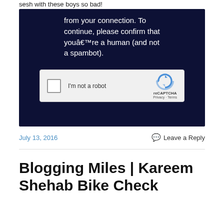sesh with these boys so bad!
[Figure (screenshot): Dark navy background screenshot showing a CAPTCHA challenge message: 'from your connection. To continue, please confirm that youâ€™re a human (and not a spambot).' with a reCAPTCHA widget showing 'I'm not a robot' checkbox and reCAPTCHA branding.]
July 13, 2016
Leave a Reply
Blogging Miles | Kareem Shehab Bike Check